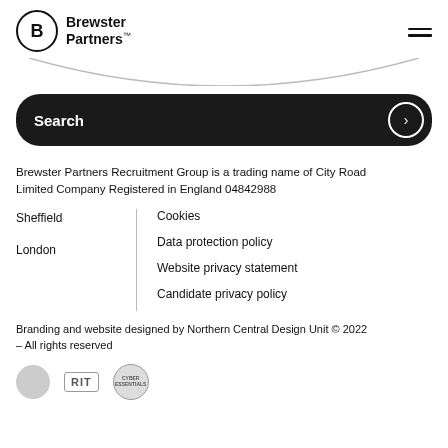[Figure (logo): Brewster Partners logo: circle with B, text Brewster Partners™, and hamburger menu icon top right]
[Figure (other): Rounded arc/curve navigation element at top]
[Figure (other): Dark rounded search bar with 'Search' label and arrow button]
Brewster Partners Recruitment Group is a trading name of City Road Limited Company Registered in England 04842988
Sheffield
London
Cookies
Data protection policy
Website privacy statement
Candidate privacy policy
Branding and website designed by Northern Central Design Unit © 2022 – All rights reserved
[Figure (logo): Certification/accreditation badges at bottom: grey circle badge, RIT badge, Cyber Essentials badge]